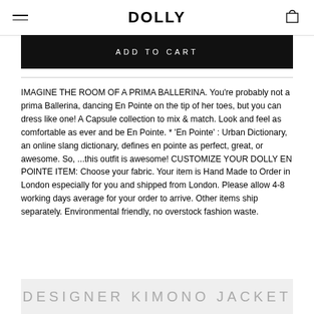DOLLY
ADD TO CART
IMAGINE THE ROOM OF A PRIMA BALLERINA. You're probably not a prima Ballerina, dancing En Pointe on the tip of her toes, but you can dress like one! A Capsule collection to mix & match. Look and feel as comfortable as ever and be En Pointe. * 'En Pointe' : Urban Dictionary, an online slang dictionary, defines en pointe as perfect, great, or awesome. So, ...this outfit is awesome! CUSTOMIZE YOUR DOLLY EN POINTE ITEM: Choose your fabric. Your item is Hand Made to Order in London especially for you and shipped from London. Please allow 4-8 working days average for your order to arrive. Other items ship separately. Environmental friendly, no overstock fashion waste.
DESIGNER KIMONO JACKET